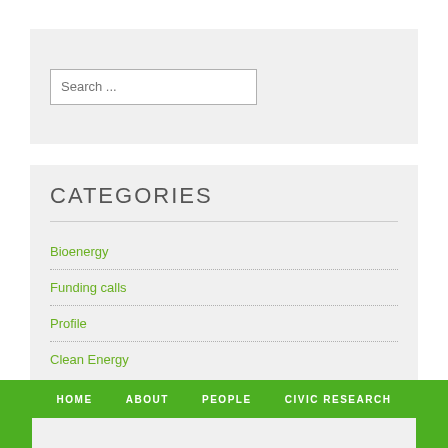[Figure (screenshot): Search box widget with placeholder text 'Search ...' on a light gray background]
CATEGORIES
Bioenergy
Funding calls
Profile
Clean Energy
HOME  ABOUT  PEOPLE  CIVIC RESEARCH